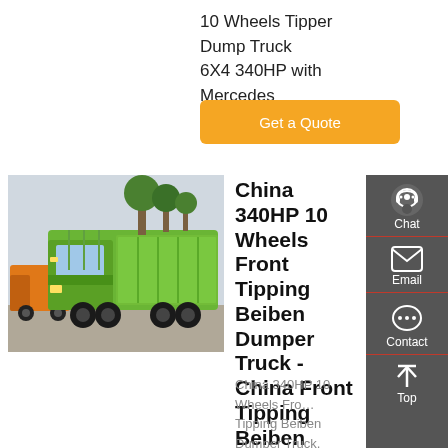10 Wheels Tipper Dump Truck 6X4 340HP with Mercedes
Get a Quote
[Figure (photo): Green Beiben dump/tipper truck parked outdoors with trees and fence in background]
China 340HP 10 Wheels Front Tipping Beiben Dumper Truck - China Front Tipping Beiben Dumper Truck, China Heavy Trucks
China 340HP 10 Wheels Front Tipping Beiben Dumper Truck, Find details about China Front
Chat
Email
Contact
Top